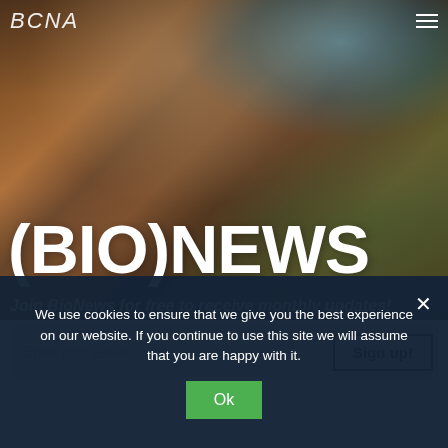BCNA
(BIO)NEWS
Join BioNews for free to receive monthly updates!
Enter your e-mail...
Sign up!
Or follow us on Facebook
We use cookies to ensure that we give you the best experience on our website. If you continue to use this site we will assume that you are happy with it.
Ok